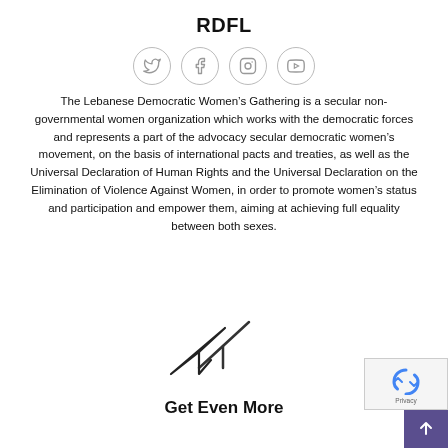RDFL
[Figure (illustration): Row of four social media icon circles: Twitter, Facebook, Instagram, YouTube — grey outlined circles with grey icons]
The Lebanese Democratic Women’s Gathering is a secular non-governmental women organization which works with the democratic forces and represents a part of the advocacy secular democratic women’s movement, on the basis of international pacts and treaties, as well as the Universal Declaration of Human Rights and the Universal Declaration on the Elimination of Violence Against Women, in order to promote women’s status and participation and empower them, aiming at achieving full equality between both sexes.
[Figure (illustration): A paper airplane / send icon in dark grey/black pointing upper right]
Get Even More
[Figure (logo): Google reCAPTCHA badge in bottom right corner with rotating arrows logo and Privacy text]
[Figure (illustration): Purple scroll-to-top button with upward arrow in bottom right corner]